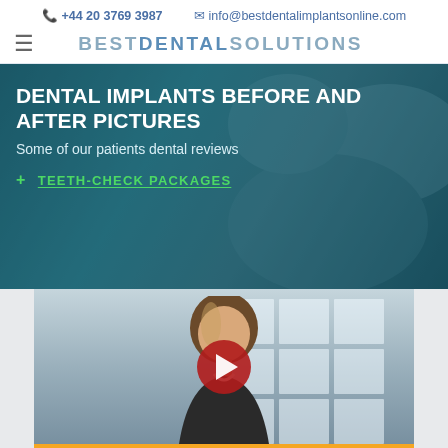+44 20 3769 3987  info@bestdentalimplantsonline.com
BESTDENTALSOLUTIONS
DENTAL IMPLANTS BEFORE AND AFTER PICTURES
Some of our patients dental reviews
+ TEETH-CHECK PACKAGES
[Figure (screenshot): Video thumbnail showing a young woman with long brown/blonde hair in a blazer, with a window grid background and a YouTube-style red play button in the center. Below is an orange button reading I WANT TO GET A QUOTE with an envelope icon.]